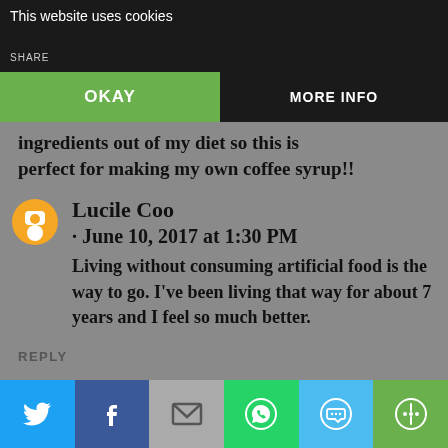This website uses cookies
SHARE
OKAY   MORE INFO
ingredients out of my diet so this is perfect for making my own coffee syrup!!
Lucile Coo
· June 10, 2017 at 1:30 PM
Living without consuming artificial food is the way to go. I've been living that way for about 7 years and I feel so much better.
REPLY
Unknown